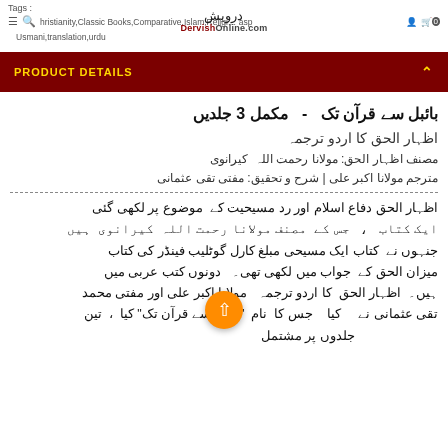Tags: Christianity,Classic Books,Comparative,Islam,Religious,Usmani,translation,urdu
[Figure (logo): Dervish Online logo with Arabic/Urdu script and DervishOnline.com text]
PRODUCT DETAILS
بائبل سے قرآن تک - مکمل 3 جلدیں
اظہار الحق کا اردو ترجمہ
مصنف اظہار الحق: مولانا رحمت اللہ کیرانوی
مترجم مولانا اکبر علی | شرح و تحقیق: مفتی تقی عثمانی
اظہار الحق دفاع اسلام اور رد مسیحیت کے موضوع پر لکھی گئی ایک کتاب ، جس کے مصنف مولانا رحمت اللہ کیرانوی ہیں جنہوں نے کتاب ایک مسیحی مبلغ کارل گوٹلیب فینڈر کی کتاب میزان الحق کے جواب میں لکھی تھی۔ دونوں کتب عربی میں ہیں۔ اظہار الحق کا اردو ترجمہ مولانا اکبر علی اور مفتی محمد تقی عثمانی نے کیا جس کا نام "بائبل سے قرآن تک" کیا ، تین جلدوں پر مشتمل